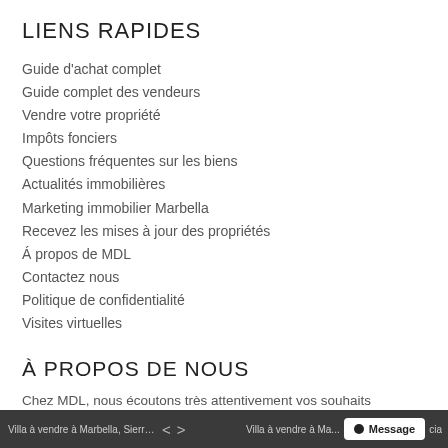LIENS RAPIDES
Guide d'achat complet
Guide complet des vendeurs
Vendre votre propriété
Impôts fonciers
Questions fréquentes sur les biens
Actualités immobilières
Marketing immobilier Marbella
Recevez les mises à jour des propriétés
Á propos de MDL
Contactez nous
Politique de confidentialité
Visites virtuelles
À PROPOS DE NOUS
Chez MDL, nous écoutons très attentivement vos souhaits personnels.
De cette façon, nous pouvons être sûrs que vous trouverez la maison de vos rêves sur la Costa del Sol.
Villa à vendre à Marbella, Sierra Blanca   < >   Villa à vendre à Ma...   • Message   cia